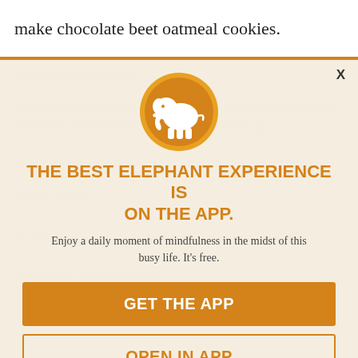make chocolate beet oatmeal cookies.
[Figure (screenshot): App promotion modal overlay on top of dimmed article text. Contains an elephant logo in an orange circle, headline 'THE BEST ELEPHANT EXPERIENCE IS ON THE APP.', subtext 'Enjoy a daily moment of mindfulness in the midst of this busy life. It's free.', a filled orange 'GET THE APP' button, and an outlined 'OPEN IN APP' button. A close 'X' button appears top right. Background shows faded article text with a verdict line.]
THE BEST ELEPHANT EXPERIENCE IS ON THE APP.
Enjoy a daily moment of mindfulness in the midst of this busy life. It's free.
GET THE APP
OPEN IN APP